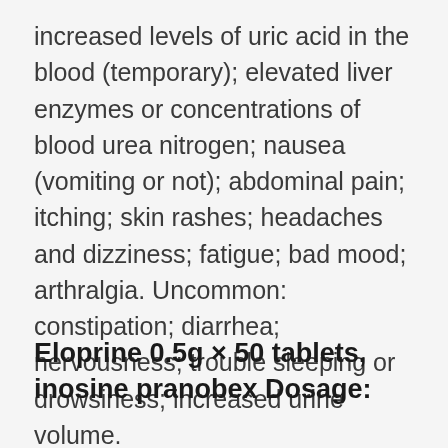increased levels of uric acid in the blood (temporary); elevated liver enzymes or concentrations of blood urea nitrogen; nausea (vomiting or not); abdominal pain; itching; skin rashes; headaches and dizziness; fatigue; bad mood; arthralgia. Uncommon: constipation; diarrhea; nervousness; trouble sleeping or drowsiness; increased urine volume.
Eloprine 0.5g × 50 tablets, inosine pranobex Dosage: